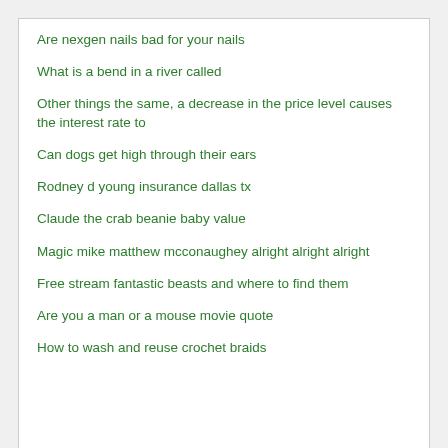Are nexgen nails bad for your nails
What is a bend in a river called
Other things the same, a decrease in the price level causes the interest rate to
Can dogs get high through their ears
Rodney d young insurance dallas tx
Claude the crab beanie baby value
Magic mike matthew mcconaughey alright alright alright
Free stream fantastic beasts and where to find them
Are you a man or a mouse movie quote
How to wash and reuse crochet braids